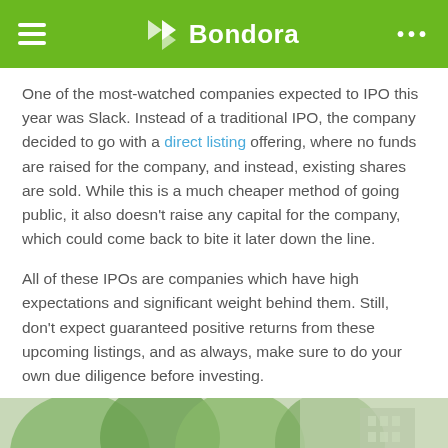Bondora
One of the most-watched companies expected to IPO this year was Slack. Instead of a traditional IPO, the company decided to go with a direct listing offering, where no funds are raised for the company, and instead, existing shares are sold. While this is a much cheaper method of going public, it also doesn't raise any capital for the company, which could come back to bite it later down the line.
All of these IPOs are companies which have high expectations and significant weight behind them. Still, don't expect guaranteed positive returns from these upcoming listings, and as always, make sure to do your own due diligence before investing.
[Figure (photo): A person holding a white smartphone outdoors with trees and a building in the blurred background.]